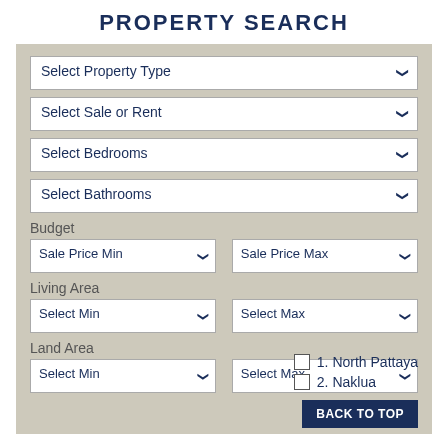PROPERTY SEARCH
Select Property Type
Select Sale or Rent
Select Bedrooms
Select Bathrooms
Budget
Sale Price Min
Sale Price Max
Living Area
Select Min
Select Max
Land Area
Select Min
Select Max
1. North Pattaya
2. Naklua
BACK TO TOP